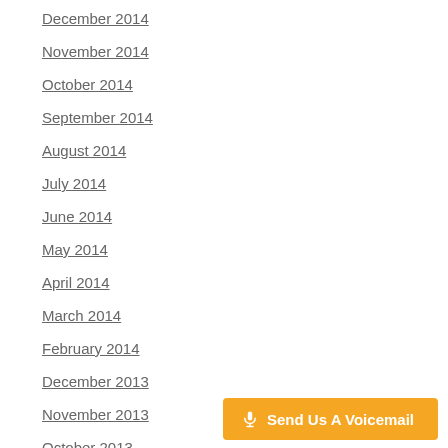December 2014
November 2014
October 2014
September 2014
August 2014
July 2014
June 2014
May 2014
April 2014
March 2014
February 2014
December 2013
November 2013
October 2013
September 2013
July 2013
June 2013
May 2013
April 2013
[Figure (other): Orange button with microphone icon labeled 'Send Us A Voicemail']